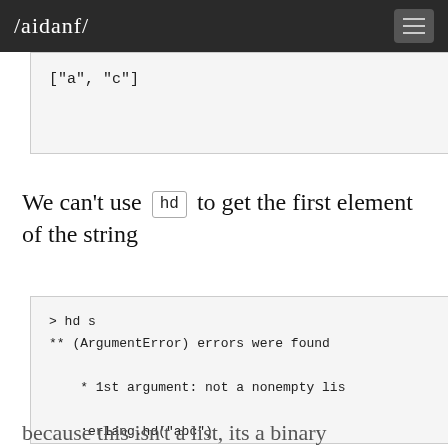/aidanf/
["a", "c"]
We can't use hd to get the first element of the string
> hd s
** (ArgumentError) errors were found

    * 1st argument: not a nonempty lis

    :erlang.hd("abc")
because this isn't a list, its a binary